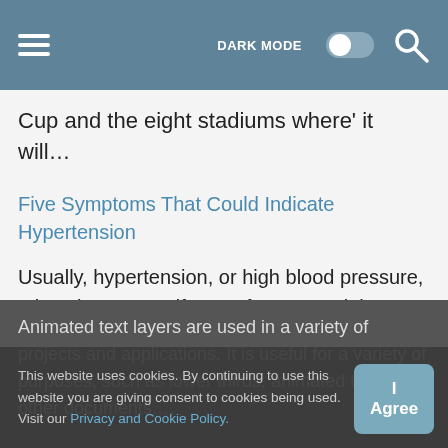DARK MODE [toggle] [search]
Cup and the eight stadiums where' it will…
Five Symptoms That Could Indicate Hypertension
Usually, hypertension, or high blood pressure, takes time to manifest. In fact, you might go years without realizing you have the condition. That's significant because untreated hypertension can have…
Text Animation in After Effects
Animated text layers are used in a variety of projects and applications. It is useful for a variety of purposes, such as lower thirds, animated titles for other documents,…
This website uses cookies. By continuing to use this website you are giving consent to cookies being used. Visit our Privacy and Cookie Policy.